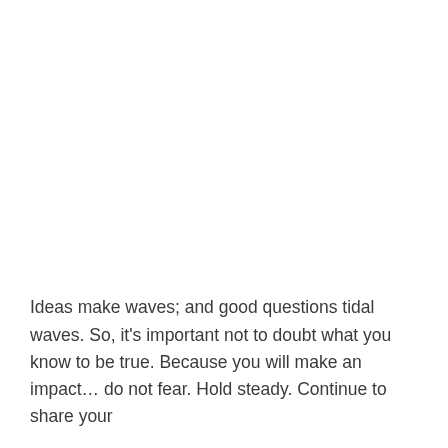Ideas make waves; and good questions tidal waves. So, it's important not to doubt what you know to be true. Because you will make an impact… do not fear. Hold steady. Continue to share your